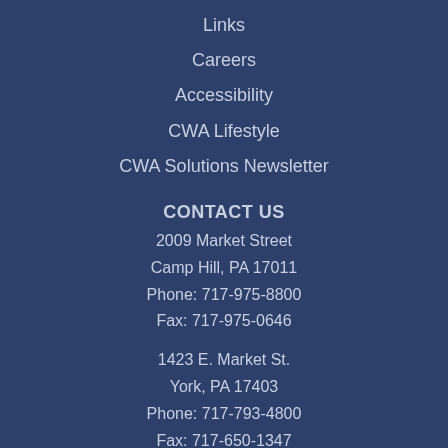Links
Careers
Accessibility
CWA Lifestyle
CWA Solutions Newsletter
CONTACT US
2009 Market Street
Camp Hill, PA 17011
Phone: 717-975-8800
Fax: 717-975-0646
1423 E. Market St.
York, PA 17403
Phone: 717-793-4800
Fax: 717-650-1347
2740 Oak Ridge Ct.
Suite 304